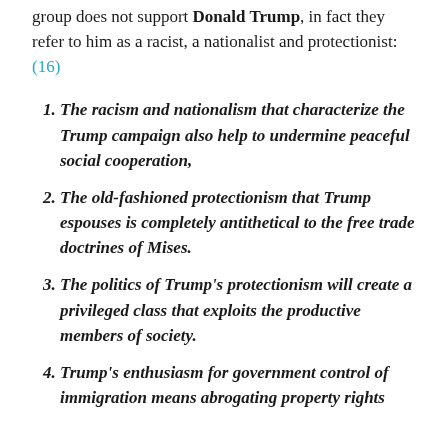group does not support Donald Trump, in fact they refer to him as a racist, a nationalist and protectionist: (16)
The racism and nationalism that characterize the Trump campaign also help to undermine peaceful social cooperation,
The old-fashioned protectionism that Trump espouses is completely antithetical to the free trade doctrines of Mises.
The politics of Trump's protectionism will create a privileged class that exploits the productive members of society.
Trump's enthusiasm for government control of immigration means abrogating property rights